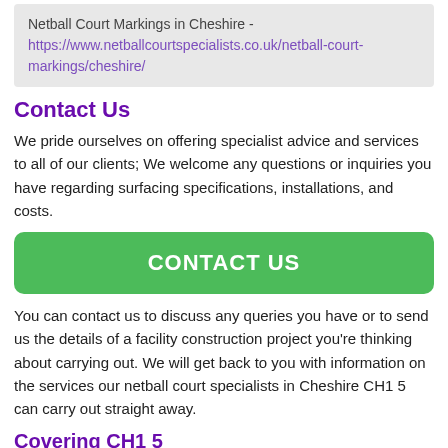Netball Court Markings in Cheshire - https://www.netballcourtspecialists.co.uk/netball-court-markings/cheshire/
Contact Us
We pride ourselves on offering specialist advice and services to all of our clients; We welcome any questions or inquiries you have regarding surfacing specifications, installations, and costs.
[Figure (other): Green CONTACT US button]
You can contact us to discuss any queries you have or to send us the details of a facility construction project you're thinking about carrying out. We will get back to you with information on the services our netball court specialists in Cheshire CH1 5 can carry out straight away.
Covering CH1 5